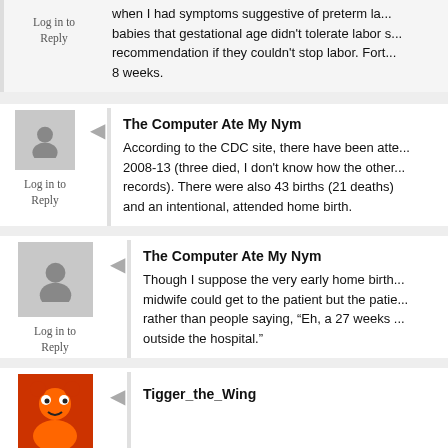when I had symptoms suggestive of preterm la... babies that gestational age didn't tolerate labor s... recommendation if they couldn't stop labor. Fort... 8 weeks.
Log in to Reply
The Computer Ate My Nym
According to the CDC site, there have been atte... 2008-13 (three died, I don't know how the other... records). There were also 43 births (21 deaths) ... and an intentional, attended home birth.
Log in to Reply
The Computer Ate My Nym
Though I suppose the very early home birth... midwife could get to the patient but the patie... rather than people saying, "Eh, a 27 weeks ... outside the hospital."
Log in to Reply
Tigger_the_Wing